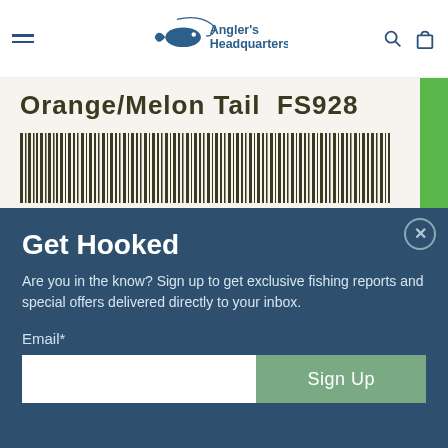[Figure (logo): Angler's Headquarters logo with fish graphic and text]
[Figure (photo): Product label reading 'Orange/Melon Tail FS928' with barcode and green stripe]
Get Hooked
Are you in the know? Sign up to get exclusive fishing reports and special offers delivered directly to your inbox.
Email*
Sign Up